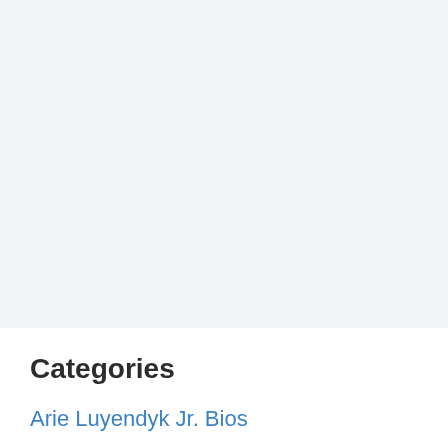[Figure (other): Large blank light gray panel filling upper portion of page]
Categories
Arie Luyendyk Jr. Bios